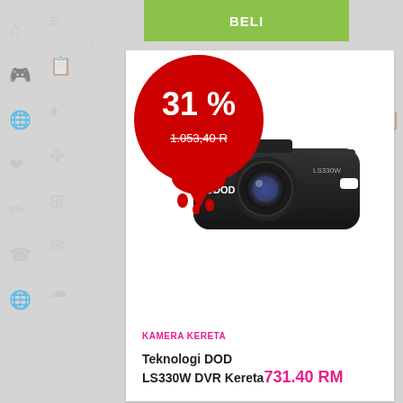BELI
[Figure (screenshot): Red discount bubble showing 31% off with price 1.053,40 R, and product image of DOD LS330W dashcam camera in black]
KAMERA KERETA
Teknologi DOD LS330W DVR Kereta 731.40 RM